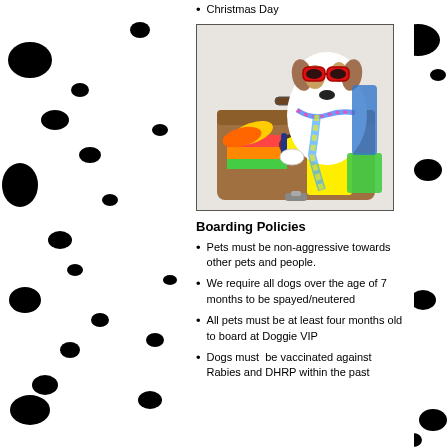Christmas Day
[Figure (photo): A Jack Russell Terrier dog wearing red sunglasses and a colorful lei/tie, sitting inside an open suitcase packed with colorful towels, flip flops, and a snorkel mask — a vacation/travel themed pet photo.]
Boarding Policies
Pets must be non-aggressive towards other pets and people.
We require all dogs over the age of 7 months to be spayed/neutered
All pets must be at least four months old to board at Doggie VIP
Dogs must be vaccinated against Rabies and DHRP within the past